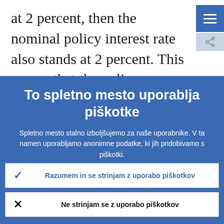at 2 percent, then the nominal policy interest rate also stands at 2 percent. This means that the policy space for the central bank to cut the nominal policy interest rate…
[Figure (screenshot): Cookie consent overlay on a Slovenian website with title 'To spletno mesto uporablja piškotke']
To spletno mesto uporablja piškotke
Spletno mesto stalno izboljšujemo za naše uporabnike. V ta namen uporabljamo anonimne podatke, ki jih pridobivamo s piškotki.
Več o tem, kako uporabljamo piškotke
Razumem in se strinjam z uporabo piškotkov
Ne strinjam se z uporabo piškotkov